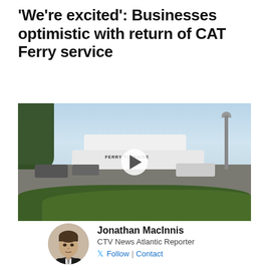'We're excited': Businesses optimistic with return of CAT Ferry service
[Figure (photo): Video thumbnail showing a CAT Ferry vessel labeled 'FERRY TO MAINE' docked at a port, surrounded by trees in the foreground and sky above, with a play button overlay in the center.]
Jonathan MacInnis
CTV News Atlantic Reporter
Follow | Contact